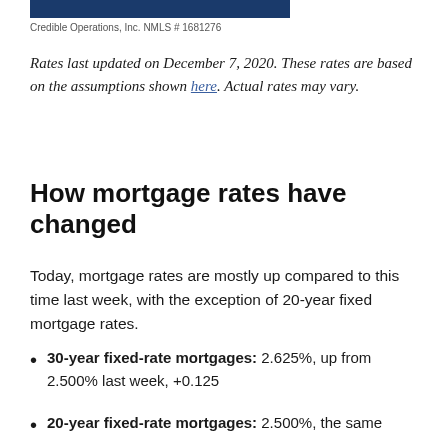[Figure (other): Blue header bar graphic]
Credible Operations, Inc. NMLS # 1681276
Rates last updated on December 7, 2020. These rates are based on the assumptions shown here. Actual rates may vary.
How mortgage rates have changed
Today, mortgage rates are mostly up compared to this time last week, with the exception of 20-year fixed mortgage rates.
30-year fixed-rate mortgages: 2.625%, up from 2.500% last week, +0.125
20-year fixed-rate mortgages: 2.500%, the same as last week